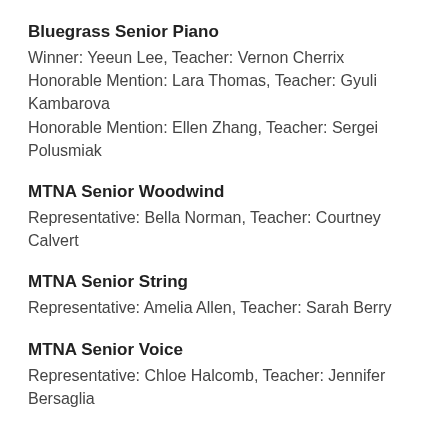Bluegrass Senior Piano
Winner: Yeeun Lee, Teacher: Vernon Cherrix
Honorable Mention: Lara Thomas, Teacher: Gyuli Kambarova
Honorable Mention: Ellen Zhang, Teacher: Sergei Polusmiak
MTNA Senior Woodwind
Representative: Bella Norman, Teacher: Courtney Calvert
MTNA Senior String
Representative: Amelia Allen, Teacher: Sarah Berry
MTNA Senior Voice
Representative: Chloe Halcomb, Teacher: Jennifer Bersaglia